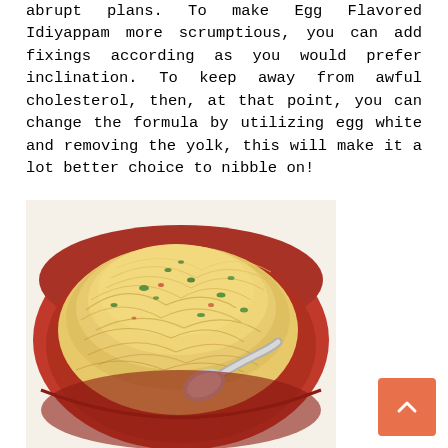abrupt plans. To make Egg Flavored Idiyappam more scrumptious, you can add fixings according as you would prefer inclination. To keep away from awful cholesterol, then, at that point, you can change the formula by utilizing egg white and removing the yolk, this will make it a lot better choice to nibble on!
[Figure (photo): A red bowl filled with Egg Flavored Idiyappam (rice noodles/string hoppers) garnished with green herbs, with a metal spoon resting in the dish, photographed from above.]